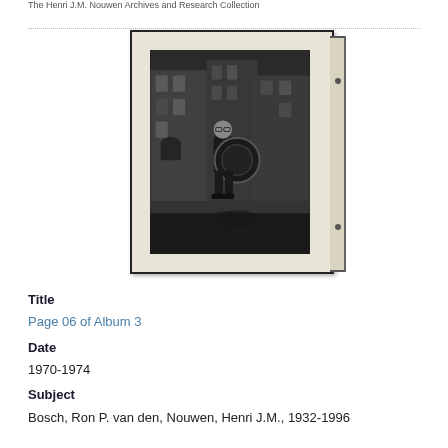The Henri J.M. Nouwen Archives and Research Collection
[Figure (photo): Black and white photograph mounted in a cream album with spine binding, showing a man standing on a street holding a large circular object, with canal and historic buildings in the background (appears to be Amsterdam).]
Title
Page 06 of Album 3
Date
1970-1974
Subject
Bosch, Ron P. van den, Nouwen, Henri J.M., 1932-1996